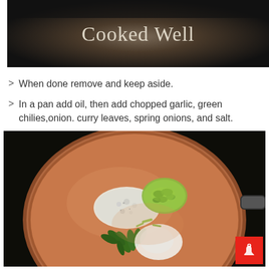[Figure (photo): Top portion of a cooking video still showing dark background with text 'Cooked Well' in light serif font]
When done remove and keep aside.
In a pan add oil, then add chopped garlic, green chilies,onion. curry leaves, spring onions, and salt.
[Figure (photo): A copper/brown pan viewed from above containing chopped garlic (white), green chilies (yellow-green), curry leaves (dark green), spring onions, and a white ingredient, all uncooked in oil]